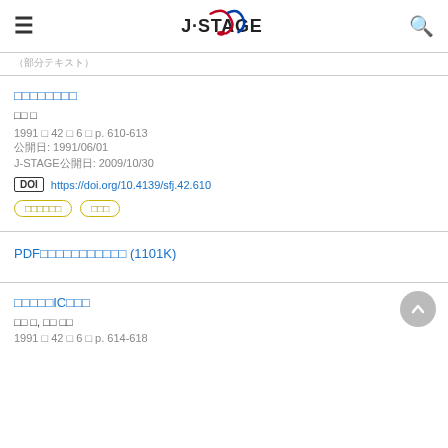J-STAGE
（部分的なテキスト）
□□□□□□□□
□□ □
1991 □ 42 □ 6 □ p. 610-613
公開日: 1991/06/01
J-STAGE公開日: 2009/10/30
DOI https://doi.org/10.4139/sfj.42.610
□□□□□□ □□□
PDF□□□□□□□□□□□ (1101K)
□□□□□IC□□□
□□ □, □□ □□
1991 □ 42 □ 6 □ p. 614-618